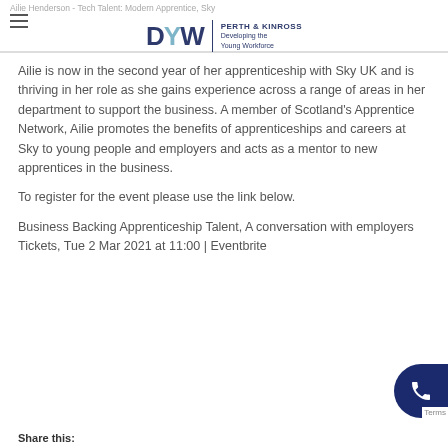Ailie Henderson - Tech Talent: Modern Apprentice, Sky
Ailie is now in the second year of her apprenticeship with Sky UK and is thriving in her role as she gains experience across a range of areas in her department to support the business. A member of Scotland's Apprentice Network, Ailie promotes the benefits of apprenticeships and careers at Sky to young people and employers and acts as a mentor to new apprentices in the business.
To register for the event please use the link below.
Business Backing Apprenticeship Talent, A conversation with employers Tickets, Tue 2 Mar 2021 at 11:00 | Eventbrite
Share this: